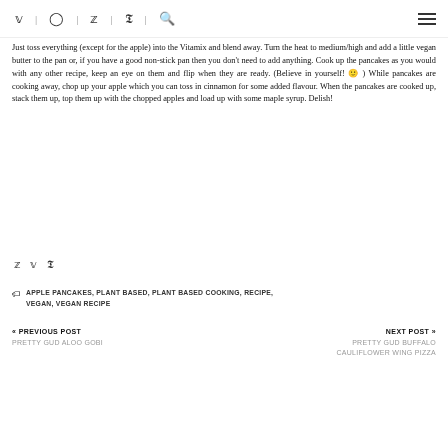Social icons: Twitter, Instagram, Facebook, Pinterest, Search | Hamburger menu
Just toss everything (except for the apple) into the Vitamix and blend away. Turn the heat to medium/high and add a little vegan butter to the pan or, if you have a good non-stick pan then you don't need to add anything. Cook up the pancakes as you would with any other recipe, keep an eye on them and flip when they are ready. (Believe in yourself! 🙂 ) While pancakes are cooking away, chop up your apple which you can toss in cinnamon for some added flavour. When the pancakes are cooked up, stack them up, top them up with the chopped apples and load up with some maple syrup. Delish!
[Figure (other): Share icons: Facebook, Twitter, Pinterest]
APPLE PANCAKES, PLANT BASED, PLANT BASED COOKING, RECIPE, VEGAN, VEGAN RECIPE
« PREVIOUS POST
PRETTY GUD ALOO GOBI
NEXT POST »
PRETTY GUD BUFFALO CAULIFLOWER WING PIZZA